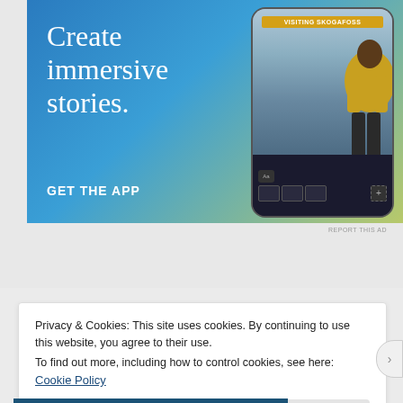[Figure (illustration): Advertisement banner with blue-to-yellow gradient background showing text 'Create immersive stories.' with a phone mockup displaying 'VISITING SKOGAFOSS' badge and a person looking up at a waterfall. Text 'GET THE APP' at bottom left.]
REPORT THIS AD
Privacy & Cookies: This site uses cookies. By continuing to use this website, you agree to their use.
To find out more, including how to control cookies, see here: Cookie Policy